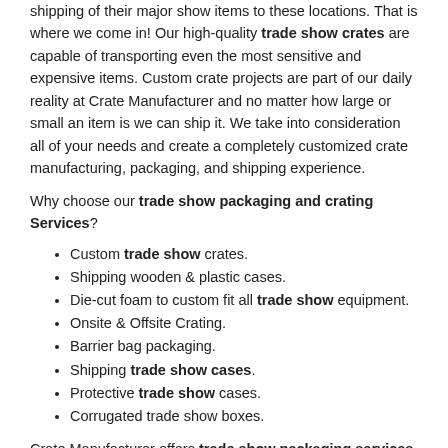shipping of their major show items to these locations. That is where we come in! Our high-quality trade show crates are capable of transporting even the most sensitive and expensive items. Custom crate projects are part of our daily reality at Crate Manufacturer and no matter how large or small an item is we can ship it. We take into consideration all of your needs and create a completely customized crate manufacturing, packaging, and shipping experience.
Why choose our trade show packaging and crating Services?
Custom trade show crates.
Shipping wooden & plastic cases.
Die-cut foam to custom fit all trade show equipment.
Onsite & Offsite Crating.
Barrier bag packaging.
Shipping trade show cases.
Protective trade show cases.
Corrugated trade show boxes.
Crate Manufacturer offers trade show packaging services in Dallas – Fort Worth and surrounding towns including Sulphur Springs, Greenville, Tyler, East Texas, Waxahachie, Bonham, Texarkana, Commerce and Paris Texas. Whatever custom trade show packaging needs, our engineers can make it.